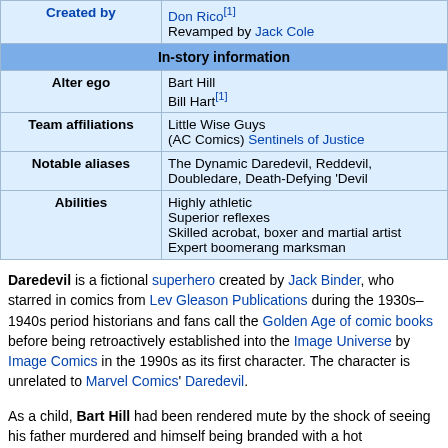| Created by | Don Rico[1]
Revamped by Jack Cole |
| In-story information |  |
| Alter ego | Bart Hill
Bill Hart[1] |
| Team affiliations | Little Wise Guys (AC Comics) Sentinels of Justice |
| Notable aliases | The Dynamic Daredevil, Reddevil, Doubledare, Death-Defying 'Devil |
| Abilities | Highly athletic
Superior reflexes
Skilled acrobat, boxer and martial artist
Expert boomerang marksman |
Daredevil is a fictional superhero created by Jack Binder, who starred in comics from Lev Gleason Publications during the 1930s–1940s period historians and fans call the Golden Age of comic books before being retroactively established into the Image Universe by Image Comics in the 1990s as its first character. The character is unrelated to Marvel Comics' Daredevil.
As a child, Bart Hill had been rendered mute by the shock of seeing his father murdered and himself being branded with a hot